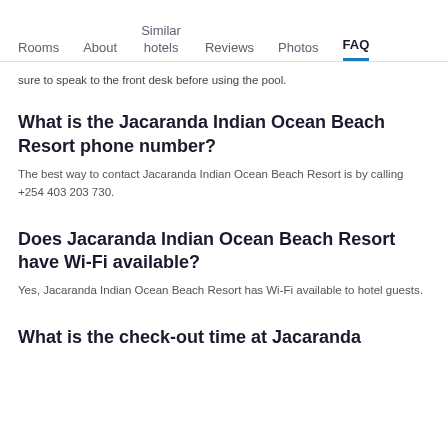Rooms | About | Similar hotels | Reviews | Photos | FAQ
sure to speak to the front desk before using the pool.
What is the Jacaranda Indian Ocean Beach Resort phone number?
The best way to contact Jacaranda Indian Ocean Beach Resort is by calling +254 403 203 730.
Does Jacaranda Indian Ocean Beach Resort have Wi-Fi available?
Yes, Jacaranda Indian Ocean Beach Resort has Wi-Fi available to hotel guests.
What is the check-out time at Jacaranda